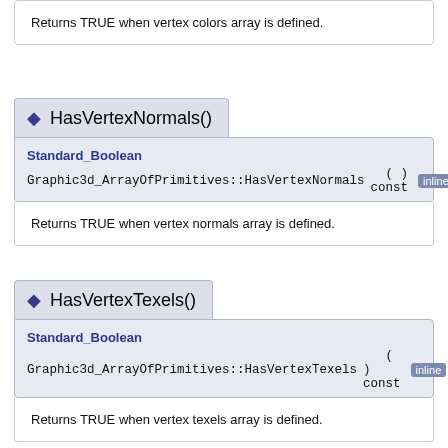Returns TRUE when vertex colors array is defined.
HasVertexNormals()
Standard_Boolean
Graphic3d_ArrayOfPrimitives::HasVertexNormals ( ) const [inline]
Returns TRUE when vertex normals array is defined.
HasVertexTexels()
Standard_Boolean
Graphic3d_ArrayOfPrimitives::HasVertexTexels ( ) const [inline]
Returns TRUE when vertex texels array is defined.